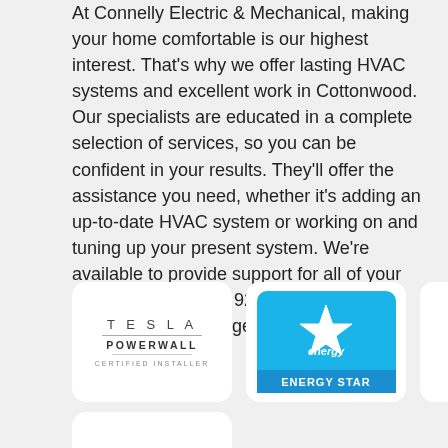At Connelly Electric & Mechanical, making your home comfortable is our highest interest. That's why we offer lasting HVAC systems and excellent work in Cottonwood. Our specialists are educated in a complete selection of services, so you can be confident in your results. They'll offer the assistance you need, whether it's adding an up-to-date HVAC system or working on and tuning up your present system. We're available to provide support for all of your needs, so ring us at 928-639-4251 or contact us online to get an appointment right away.
[Figure (logo): Tesla Powerwall Certified Installer logo]
[Figure (logo): Energy Star logo with blue background and star]
[Figure (logo): NATE (North American Technician Excellence) circular badge logo]
[Figure (logo): Lennox logo in red]